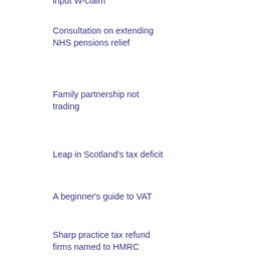Consultation on extending NHS pensions relief
Family partnership not trading
Leap in Scotland's tax deficit
A beginner's guide to VAT
Sharp practice tax refund firms named to HMRC
Treaty advantage was not main purpose in £18mn WHT repayment
Reporting rules for Digital Platforms: Consultation responses
SME Tax Monthly Summary August 2022
Nichola's SME Tax W-update